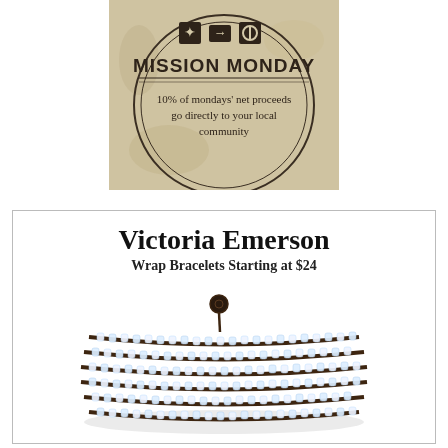[Figure (logo): Mission Monday badge with icons (butterfly in square, arrow, circle with vertical line), text reading 'MISSION MONDAY' in large letters, and smaller text '10% of mondays' net proceeds go directly to your local community', all inside a circular border on a textured tan/beige background]
[Figure (photo): Victoria Emerson wrap bracelet — a wide cuff bracelet made of multiple rows of clear/white crystal beads strung on dark brown leather cord, wrapped 5-6 times, with a dark button clasp]
Victoria Emerson
Wrap Bracelets Starting at $24